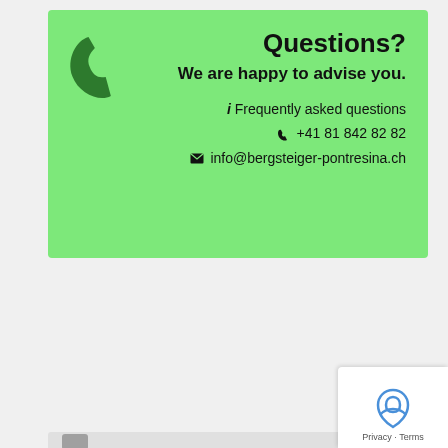[Figure (infographic): Green contact box with phone icon, heading 'Questions?', subheading 'We are happy to advise you.', FAQ link, phone number +41 81 842 82 82, and email info@bergsteiger-pontresina.ch]
Included services
Mountain guides
Overnight stay
Dinner and Breakfast
Tea for the day